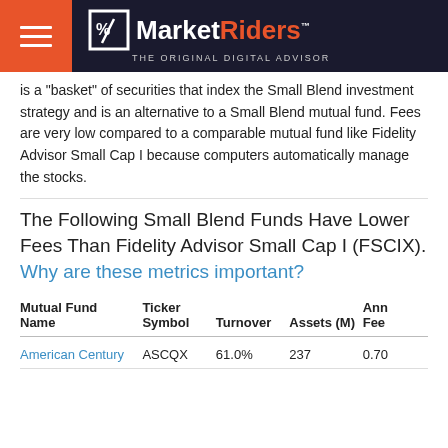MarketRiders — THE ORIGINAL DIGITAL ADVISOR
is a "basket" of securities that index the Small Blend investment strategy and is an alternative to a Small Blend mutual fund. Fees are very low compared to a comparable mutual fund like Fidelity Advisor Small Cap I because computers automatically manage the stocks.
The Following Small Blend Funds Have Lower Fees Than Fidelity Advisor Small Cap I (FSCIX). Why are these metrics important?
| Mutual Fund Name | Ticker Symbol | Turnover | Assets (M) | Annual Fee |
| --- | --- | --- | --- | --- |
| American Century | ASCQX | 61.0% | 237 | 0.70 |